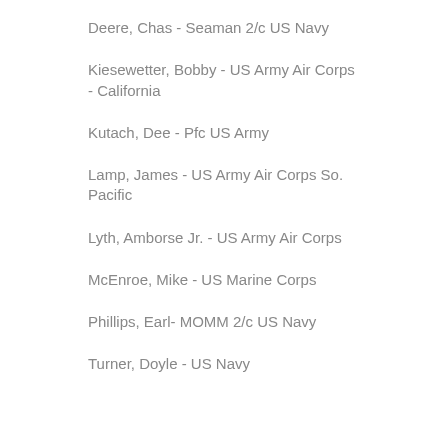Deere, Chas - Seaman 2/c US Navy
Kiesewetter, Bobby - US Army Air Corps - California
Kutach, Dee - Pfc US Army
Lamp, James - US Army Air Corps So. Pacific
Lyth, Amborse Jr. - US Army Air Corps
McEnroe, Mike - US Marine Corps
Phillips, Earl- MOMM 2/c US Navy
Turner, Doyle - US Navy